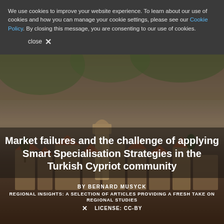We use cookies to improve your website experience. To learn about our use of cookies and how you can manage your cookie settings, please see our Cookie Policy. By closing this message, you are consenting to our use of cookies.
close ✕
Market failures and the challenge of applying Smart Specialisation Strategies in the Turkish Cypriot community
BY BERNARD MUSYCK
REGIONAL INSIGHTS: A SELECTION OF ARTICLES PROVIDING A FRESH TAKE ON REGIONAL STUDIES
✕  LICENSE: CC-BY